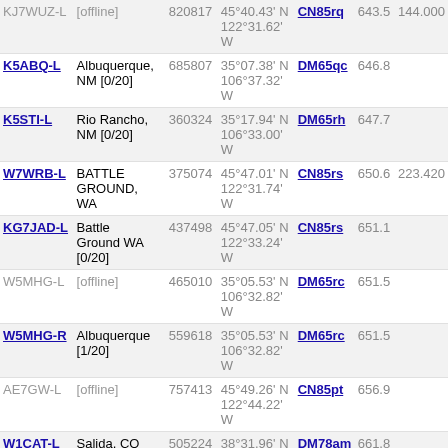| Callsign | Location | Node | Coordinates | Grid | Dist | Freq |
| --- | --- | --- | --- | --- | --- | --- |
| KJ7WUZ-L | [offline] | 820817 | 45°40.43' N 122°31.62' W | CN85rq | 643.5 | 144.000 |
| K5ABQ-L | Albuquerque, NM [0/20] | 685807 | 35°07.38' N 106°37.32' W | DM65qc | 646.8 |  |
| K5STI-L | Rio Rancho, NM [0/20] | 360324 | 35°17.94' N 106°33.00' W | DM65rh | 647.7 |  |
| W7WRB-L | BATTLE GROUND, WA | 375074 | 45°47.01' N 122°31.74' W | CN85rs | 650.6 | 223.420 |
| KG7JAD-L | Battle Ground WA [0/20] | 437498 | 45°47.05' N 122°33.24' W | CN85rs | 651.1 |  |
| W5MHG-L | [offline] | 465010 | 35°05.53' N 106°32.82' W | DM65rc | 651.5 |  |
| W5MHG-R | Albuquerque [1/20] | 559618 | 35°05.53' N 106°32.82' W | DM65rc | 651.5 |  |
| AE7GW-L | [offline] | 757413 | 45°49.26' N 122°44.22' W | CN85pt | 656.9 |  |
| W1CAT-L | Salida, CO [0/20] | 505224 | 38°31.96' N 105°59.82' W | DM78am | 661.8 |  |
| K5CQH-R | New Mexico mountain top | 880130 | 34°59.10' N 106°20.40' W | DM64tx | 664.7 | 146.720 |
| V31HH-R | Orange Walk, Belize [0/30] | 897046 | 38°33.31' N 105°53.22' W | DM78bn | 667.8 | 433.750 |
| NY7AR-R | Gardiner, MT | 495963 | 45°02.00' N 110°42.00' W | DN45pa | 670.6 |  |